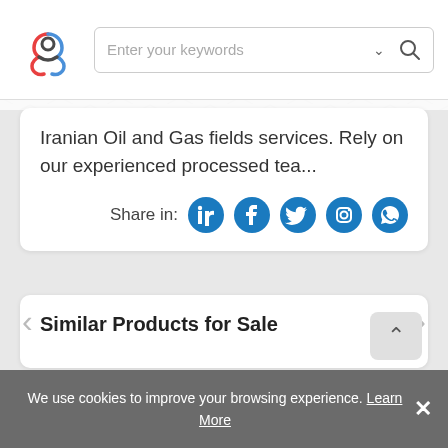Enter your keywords
Iranian Oil and Gas fields services. Rely on our experienced processed tea...
Share in:
Similar Products for Sale
[Figure (illustration): No image available icon - camera with a diagonal line through it]
We use cookies to improve your browsing experience. Learn More ×